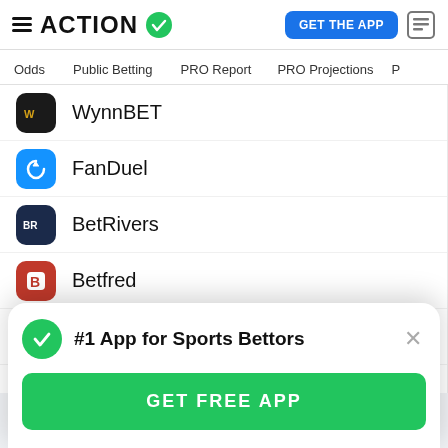ACTION
Odds
Public Betting
PRO Report
PRO Projections
WynnBET
FanDuel
BetRivers
Betfred
Parx
#1 App for Sports Bettors
GET FREE APP